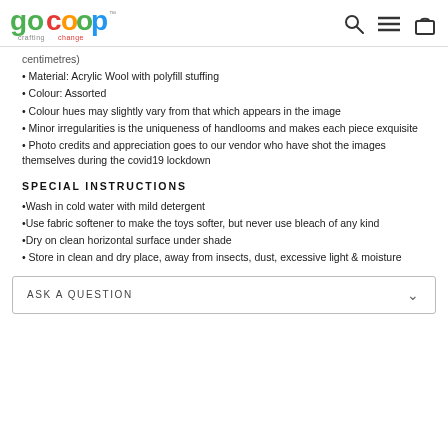GoCoop – crafting change
centimetres)
Material: Acrylic Wool with polyfill stuffing
Colour: Assorted
Colour hues may slightly vary from that which appears in the image
Minor irregularities is the uniqueness of handlooms and makes each piece exquisite
Photo credits and appreciation goes to our vendor who have shot the images themselves during the covid19 lockdown
SPECIAL INSTRUCTIONS
Wash in cold water with mild detergent
Use fabric softener to make the toys softer, but never use bleach of any kind
Dry on clean horizontal surface under shade
Store in clean and dry place, away from insects, dust, excessive light & moisture
ASK A QUESTION